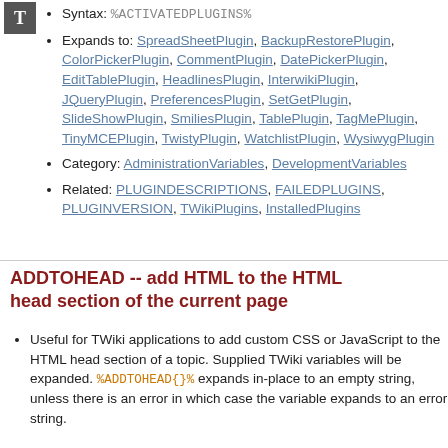Syntax: %ACTIVATEDPLUGINS%
Expands to: SpreadSheetPlugin, BackupRestorePlugin, ColorPickerPlugin, CommentPlugin, DatePickerPlugin, EditTablePlugin, HeadlinesPlugin, InterwikiPlugin, JQueryPlugin, PreferencesPlugin, SetGetPlugin, SlideShowPlugin, SmiliesPlugin, TablePlugin, TagMePlugin, TinyMCEPlugin, TwistyPlugin, WatchlistPlugin, WysiwygPlugin
Category: AdministrationVariables, DevelopmentVariables
Related: PLUGINDESCRIPTIONS, FAILEDPLUGINS, PLUGINVERSION, TWikiPlugins, InstalledPlugins
ADDTOHEAD -- add HTML to the HTML head section of the current page
Useful for TWiki applications to add custom CSS or JavaScript to the HTML head section of a topic. Supplied TWiki variables will be expanded. %ADDTOHEAD{}% expands in-place to an empty string, unless there is an error in which case the variable expands to an error string.